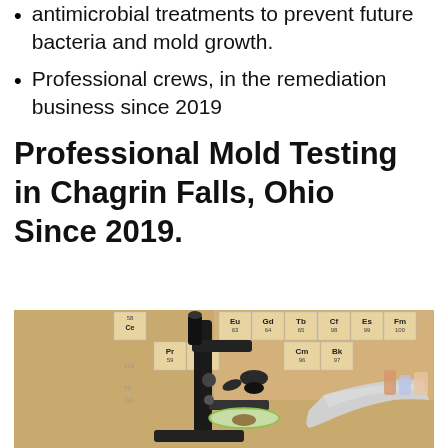antimicrobial treatments to prevent future bacteria and mold growth.
Professional crews, in the remediation business since 2019
Professional Mold Testing in Chagrin Falls, Ohio Since 2019.
[Figure (photo): A gloved hand placing a sample in a petri dish under a microscope in a laboratory setting, with a periodic table visible in the background.]